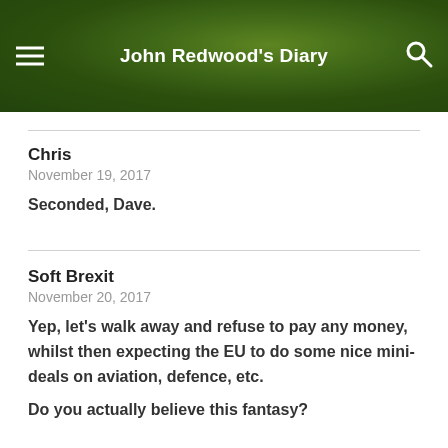John Redwood's Diary
Chris
November 19, 2017
Seconded, Dave.
Soft Brexit
November 20, 2017
Yep, let's walk away and refuse to pay any money, whilst then expecting the EU to do some nice mini-deals on aviation, defence, etc.
Do you actually believe this fantasy?